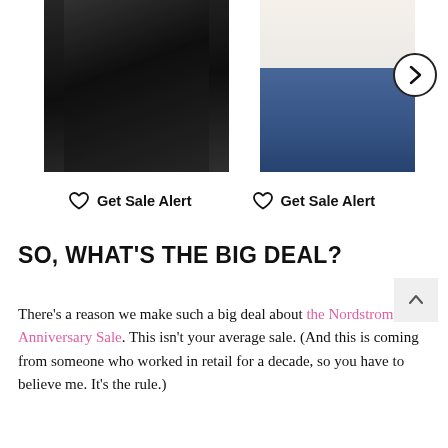[Figure (photo): Two product images side by side: left shows a dark leather jacket on a model, right shows a white t-shirt with jeans on a model. A circular next/arrow button is visible on the right side.]
♡ Get Sale Alert  ♡ Get Sale Alert
SO, WHAT'S THE BIG DEAL?
There's a reason we make such a big deal about the Nordstrom Anniversary Sale. This isn't your average sale. (And this is coming from someone who worked in retail for a decade, so you have to believe me. It's the rule.)